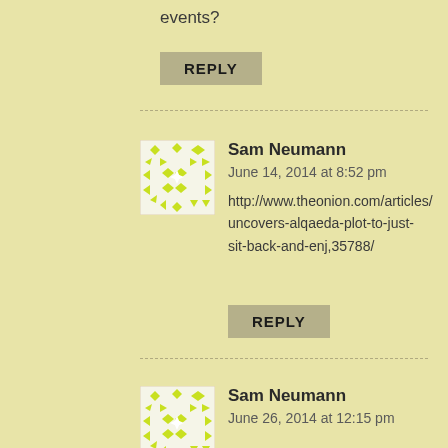events?
REPLY
Sam Neumann
June 14, 2014 at 8:52 pm
http://www.theonion.com/articles/uncovers-alqaeda-plot-to-just-sit-back-and-enj,35788/
REPLY
Sam Neumann
June 26, 2014 at 12:15 pm